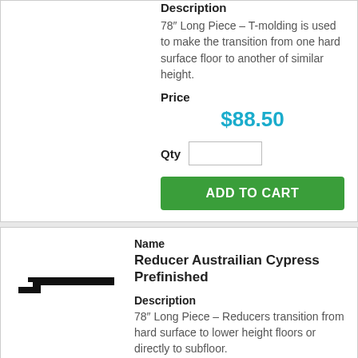Description
78″ Long Piece – T-molding is used to make the transition from one hard surface floor to another of similar height.
Price
$88.50
Qty
ADD TO CART
Name
Reducer Austrailian Cypress Prefinished
Description
78″ Long Piece – Reducers transition from hard surface to lower height floors or directly to subfloor.
[Figure (illustration): Black silhouette of a reducer flooring trim piece profile, showing a stepped/tapered cross-section shape.]